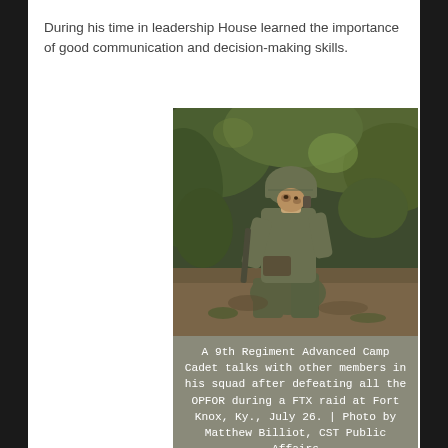During his time in leadership House learned the importance of good communication and decision-making skills.
[Figure (photo): A soldier in camouflage uniform and helmet crouches in a wooded outdoor setting, looking to the side and holding a small booklet or map. The background shows trees and foliage.]
A 9th Regiment Advanced Camp Cadet talks with other members in his squad after defeating all the OPFOR during a FTX raid at Fort Knox, Ky., July 26. | Photo by Matthew Billiot, CST Public Affairs